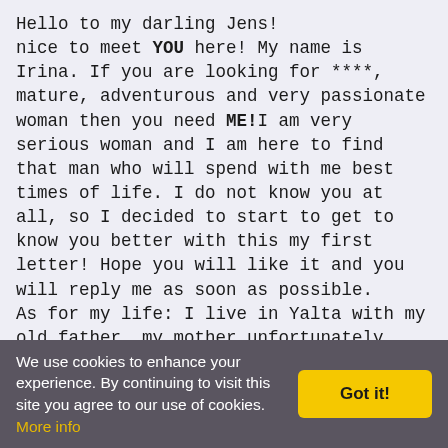Hello to my darling Jens!
nice to meet YOU here! My name is Irina. If you are looking for ****, mature, adventurous and very passionate woman then you need ME!I am very serious woman and I am here to find that man who will spend with me best times of life. I do not know you at all, so I decided to start to get to know you better with this my first letter! Hope you will like it and you will reply me as soon as possible.
As for my life: I live in Yalta with my old father, my mother unfortunately died when I was younger. I have older brother who is married now. He has already son and I adore my nephew! I love kids very much but not sure if I want to have kids in future, I think this moment I will discuss already with man who will choose me, with whom
We use cookies to enhance your experience. By continuing to visit this site you agree to our use of cookies. More info